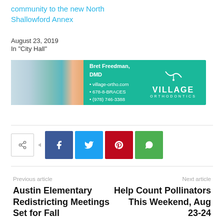community to the new North Shallowford Annex
August 23, 2019
In "City Hall"
[Figure (other): Village Orthodontics advertisement banner with office photo, Bret Freedman DMD contact info: 678-8-BRACES, village-ortho.com, (978) 746-3388]
[Figure (other): Social share buttons: share icon with arrow, Facebook, Twitter, Pinterest, WhatsApp]
Previous article
Next article
Austin Elementary Redistricting Meetings Set for Fall
Help Count Pollinators This Weekend, Aug 23-24